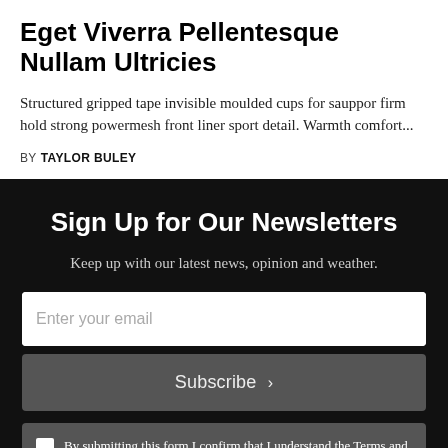Eget Viverra Pellentesque Nullam Ultricies
Structured gripped tape invisible moulded cups for sauppor firm hold strong powermesh front liner sport detail. Warmth comfort...
BY  TAYLOR BULEY
Sign Up for Our Newsletters
Keep up with our latest news, opinion and weather.
Enter your email
Subscribe  ›
By submitting this form I confirm that I understand the Terms and Conditions and Privacy Policy governing my submission.